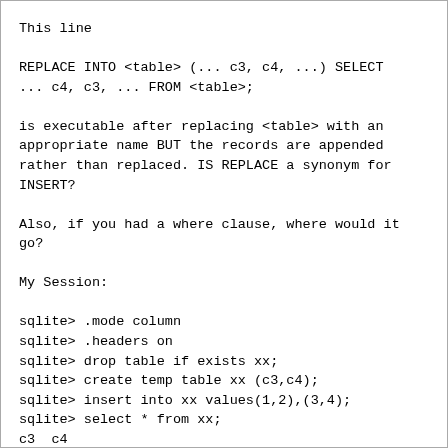This line
REPLACE INTO <table> (... c3, c4, ...) SELECT
... c4, c3, ... FROM <table>;
is executable after replacing <table> with an
appropriate name BUT the records are appended
rather than replaced. IS REPLACE a synonym for
INSERT?
Also, if you had a where clause, where would it
go?
My Session:
sqlite> .mode column
sqlite> .headers on
sqlite> drop table if exists xx;
sqlite> create temp table xx (c3,c4);
sqlite> insert into xx values(1,2),(3,4);
sqlite> select * from xx;
c3  c4
--  --
1   2
3   4
sqlite> replace into xx (c4,c3) select c3,c4
from xx where c3 in(1,3);